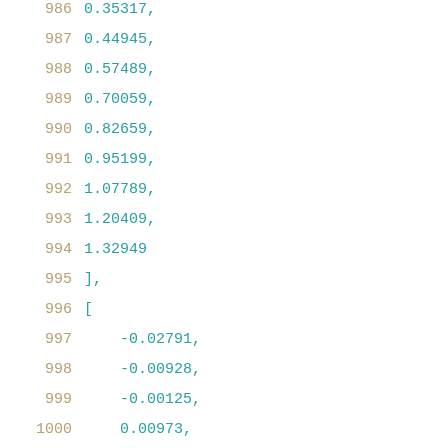986   0.35317,
987   0.44945,
988   0.57489,
989   0.70059,
990   0.82659,
991   0.95199,
992   1.07789,
993   1.20409,
994   1.32949
995   ],
996   [
997   -0.02791,
998   -0.00928,
999   -0.00125,
1000  0.00973,
1001  0.02439,
1002  0.04353,
1003  0.06827,
1004  0.09968,
1005  0.13886,
1006  0.18779,
1007  0.24801